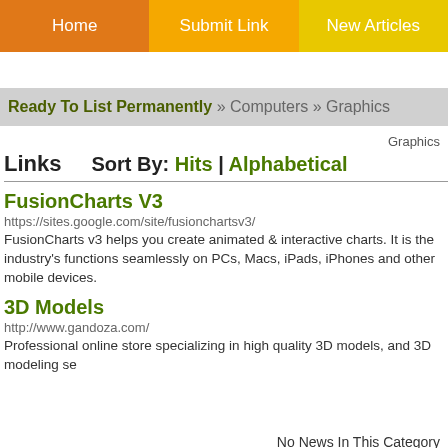Home | Submit Link | New Articles
Ready To List Permanently » Computers » Graphics
Graphics
Links   Sort By: Hits | Alphabetical
FusionCharts V3
https://sites.google.com/site/fusionchartsv3/
FusionCharts v3 helps you create animated & interactive charts. It is the industry's functions seamlessly on PCs, Macs, iPads, iPhones and other mobile devices.
3D Models
http://www.gandoza.com/
Professional online store specializing in high quality 3D models, and 3D modeling se
No News In This Category
No Articles In This Category Add An Articl